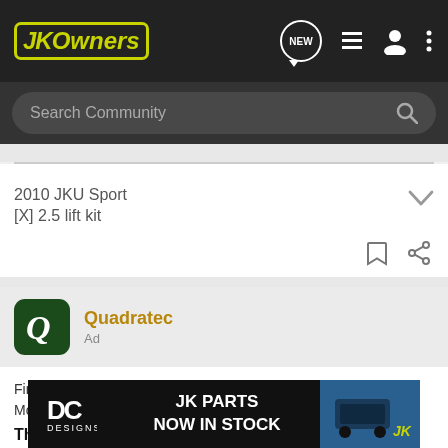JKOwners
Search Community
2010 JKU Sport
[X] 2.5 lift kit
[Figure (logo): Quadratec logo - dark green rounded square with stylized Q]
Quadratec
Ad
Find the Perfect Part or Accessory for Your Jeep - We Cover All Models
The One-Stop Shop For All Your Jeep Part & Accessory Needs
to Enhance Your Riding Experience
[Figure (infographic): DC Designs banner advertisement: JK PARTS NOW IN STOCK]